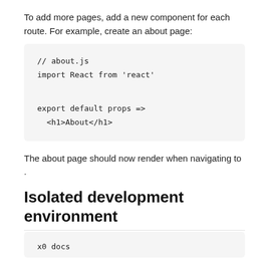To add more pages, add a new component for each route. For example, create an about page:
// about.js
import React from 'react'

export default props =>
  <h1>About</h1>
The about page should now render when navigating to .
Isolated development environment
x0 docs